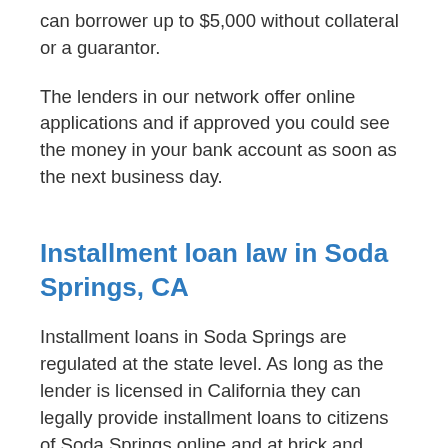can borrower up to $5,000 without collateral or a guarantor.
The lenders in our network offer online applications and if approved you could see the money in your bank account as soon as the next business day.
Installment loan law in Soda Springs, CA
Installment loans in Soda Springs are regulated at the state level. As long as the lender is licensed in California they can legally provide installment loans to citizens of Soda Springs online and at brick and mortar stores.